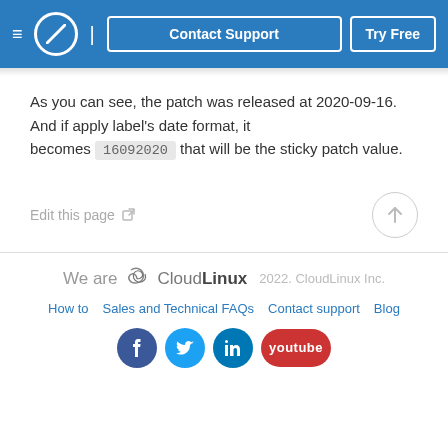Contact Support | Try Free
As you can see, the patch was released at 2020-09-16. And if apply label's date format, it becomes 16092020 that will be the sticky patch value.
Edit this page
We are CloudLinux 2022. CloudLinux Inc.
How to | Sales and Technical FAQs | Contact support | Blog
facebook twitter linkedin youtube